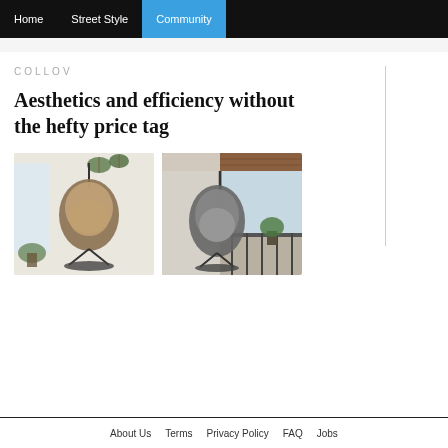Home   Street Style   Community
COLLOV
Aesthetics and efficiency without the hefty price tag
[Figure (photo): Two egg-shaped hanging chairs: left image shows a beige/brown wicker hanging egg chair with cushion in a bright indoor room with plants; right image shows a grey hanging egg chair on an outdoor balcony with a view.]
About Us   Terms   Privacy Policy   FAQ   Jobs